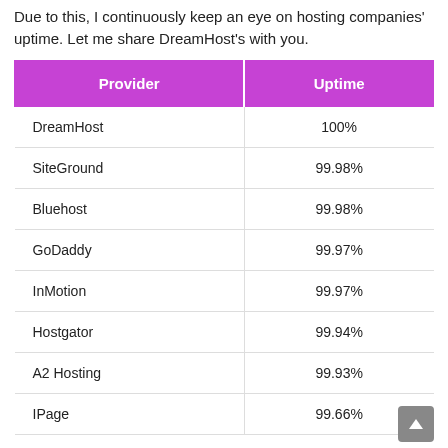Due to this, I continuously keep an eye on hosting companies' uptime. Let me share DreamHost's with you.
| Provider | Uptime |
| --- | --- |
| DreamHost | 100% |
| SiteGround | 99.98% |
| Bluehost | 99.98% |
| GoDaddy | 99.97% |
| InMotion | 99.97% |
| Hostgator | 99.94% |
| A2 Hosting | 99.93% |
| IPage | 99.66% |